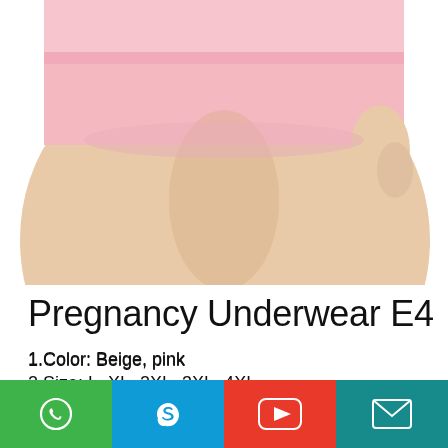[Figure (photo): Product photo showing lower body wearing pink pregnancy underwear/shorts against white background]
Pregnancy Underwear E4
1.Color: Beige, pink
2.Size: L, XL, 2XL, 3XL, 4XL
3.Material: 95% cotton, 5% spandex
4.Type: Adjustable button type
5.Application: For pregnant women
Social media contact icons: WhatsApp, Skype, YouTube, Email